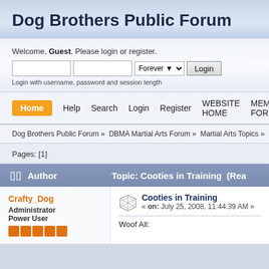Dog Brothers Public Forum
Welcome, Guest. Please login or register.
Login with username, password and session length
Home  Help  Search  Login  Register  WEBSITE HOME  MEMBERS FORUM
Dog Brothers Public Forum » DBMA Martial Arts Forum » Martial Arts Topics » Cooties in Training
Pages: [1]
Author  Topic: Cooties in Training  (Read...)
Crafty_Dog
Administrator
Power User
Cooties in Training
« on: July 25, 2008, 11:44:39 AM »
Woof All: